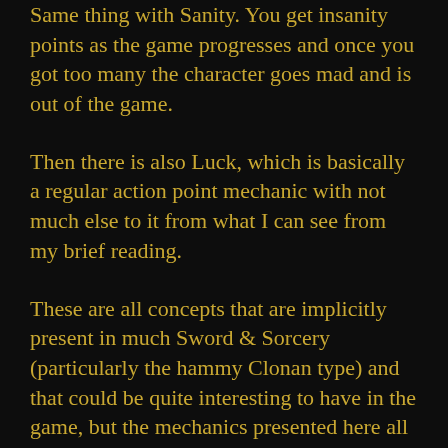Same thing with Sanity. You get insanity points as the game progresses and once you got too many the character goes mad and is out of the game.
Then there is also Luck, which is basically a regular action point mechanic with not much else to it from what I can see from my brief reading.
These are all concepts that are implicitly present in much Sword & Sorcery (particularly the hammy Clonan type) and that could be quite interesting to have in the game, but the mechanics presented here all strike me as very bare bones, bland, and also somewhat boring. I know I am a very tough customer when it